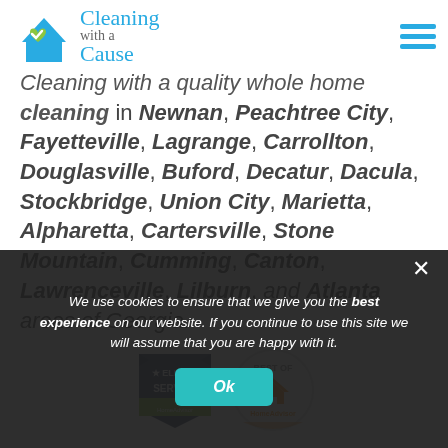[Figure (logo): Cleaning with a Cause logo with green heart and blue house icon, teal cursive text]
Cleaning with a quality whole home cleaning in Newnan, Peachtree City, Fayetteville, Lagrange, Carrollton, Douglasville, Buford, Decatur, Dacula, Stockbridge, Union City, Marietta, Alpharetta, Cartersville, Stone Mountain, Cumming, Canton, Lawrenceville, Lilburn, and Atlanta areas of Georgia.
[Figure (illustration): HomeAdvisor Elite Service badge and HomeAdvisor Best Of badge awards]
We use cookies to ensure that we give you the best experience on our website. If you continue to use this site we will assume that you are happy with it.